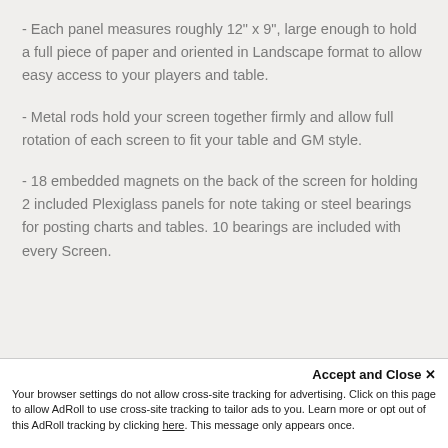- Each panel measures roughly 12" x 9", large enough to hold a full piece of paper and oriented in Landscape format to allow easy access to your players and table.
- Metal rods hold your screen together firmly and allow full rotation of each screen to fit your table and GM style.
- 18 embedded magnets on the back of the screen for holding 2 included Plexiglass panels for note taking or steel bearings for posting charts and tables. 10 bearings are included with every Screen.
Accept and Close ✕ Your browser settings do not allow cross-site tracking for advertising. Click on this page to allow AdRoll to use cross-site tracking to tailor ads to you. Learn more or opt out of this AdRoll tracking by clicking here. This message only appears once.